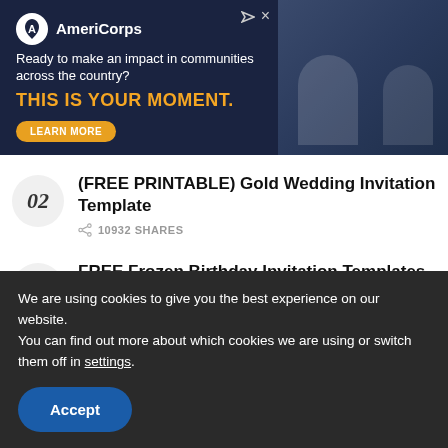[Figure (screenshot): AmeriCorps advertisement banner with dark blue background. Logo and text: 'Ready to make an impact in communities across the country? THIS IS YOUR MOMENT.' with a LEARN MORE button. Photo of people on the right side.]
02 (FREE PRINTABLE) Gold Wedding Invitation Template — 10932 SHARES
03 FREE Frozen Birthday Invitation Templates — 222 SHARES
04 (Free Editable PDF) Disney Encanto Themed Birthday Invitation Templates
We are using cookies to give you the best experience on our website.
You can find out more about which cookies we are using or switch them off in settings.
Accept